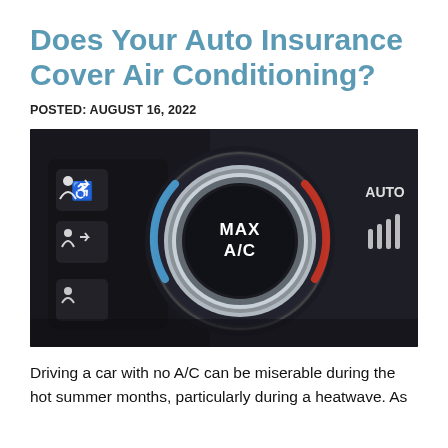Does Your Auto Insurance Cover Air Conditioning?
POSTED: AUGUST 16, 2022
[Figure (photo): Close-up photograph of a car dashboard air conditioning control panel showing a large round MAX A/C dial with blue and red arc indicators, and several climate control buttons to the left, on a dark background.]
Driving a car with no A/C can be miserable during the hot summer months, particularly during a heatwave. As